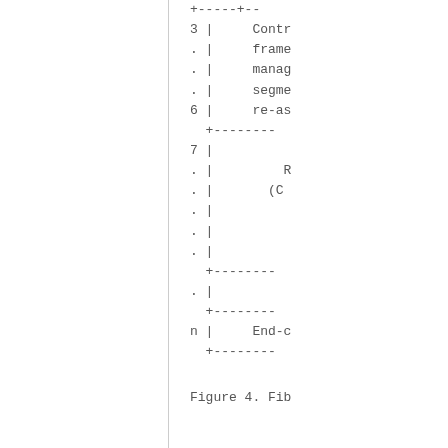[Figure (other): ASCII art diagram showing a framed/segmented structure with labeled rows: row 3 (Contr..., frame..., manag..., segme...), row 6 (re-as...), row 7 (with sub-rows including R... and (C...), row n (End-c...). Rows separated by dashed lines with '+' corners and '|' borders.]
Figure 4. Fib...